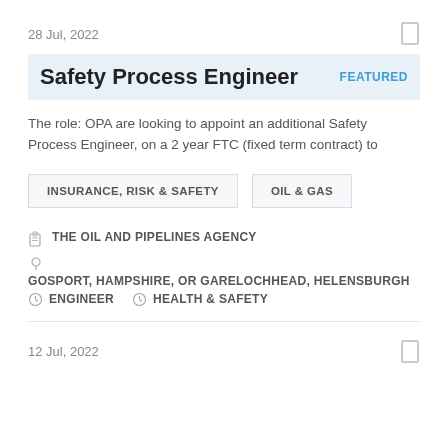28 Jul, 2022
Safety Process Engineer
FEATURED
The role: OPA are looking to appoint an additional Safety Process Engineer, on a 2 year FTC (fixed term contract) to
INSURANCE, RISK & SAFETY
OIL & GAS
THE OIL AND PIPELINES AGENCY
GOSPORT, HAMPSHIRE, OR GARELOCHHEAD, HELENSBURGH
ENGINEER   HEALTH & SAFETY
12 Jul, 2022